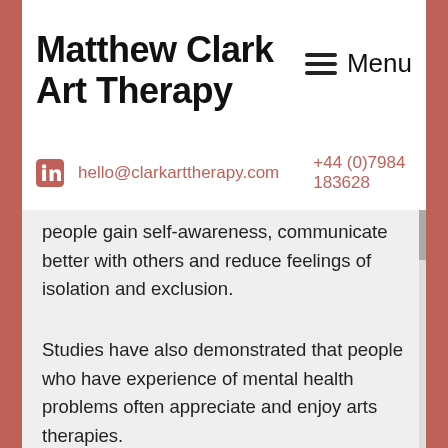Matthew Clark Art Therapy
≡ Menu
hello@clarkarttherapy.com   +44 (0)7984 183628
people gain self-awareness, communicate better with others and reduce feelings of isolation and exclusion.
Studies have also demonstrated that people who have experience of mental health problems often appreciate and enjoy arts therapies.